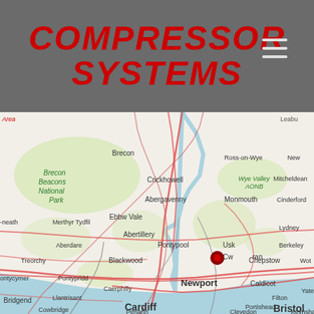[Figure (logo): Compressor Systems logo in bold red italic uppercase text on dark grey background]
[Figure (map): OpenStreetMap showing South Wales and surrounding areas including Cardiff, Newport, Cwmbran (marked with red pin), Brecon Beacons National Park, Bristol, and surrounding towns. Road network shown in red lines. Location pin at Cwmbran.]